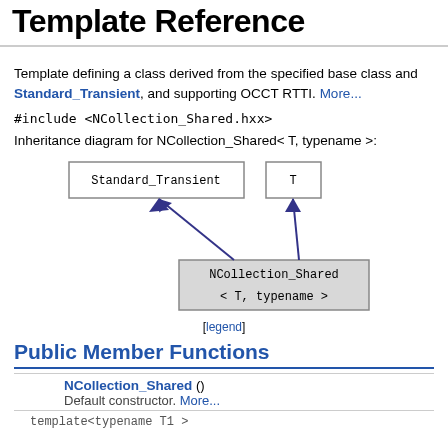Template Reference
Template defining a class derived from the specified base class and Standard_Transient, and supporting OCCT RTTI. More...
#include <NCollection_Shared.hxx>
Inheritance diagram for NCollection_Shared< T, typename >:
[Figure (engineering-diagram): Inheritance diagram showing Standard_Transient and T as parent nodes with arrows pointing up from NCollection_Shared< T, typename > child node]
[legend]
Public Member Functions
| NCollection_Shared () | Default constructor. More... |
| template<typename T1 > |  |